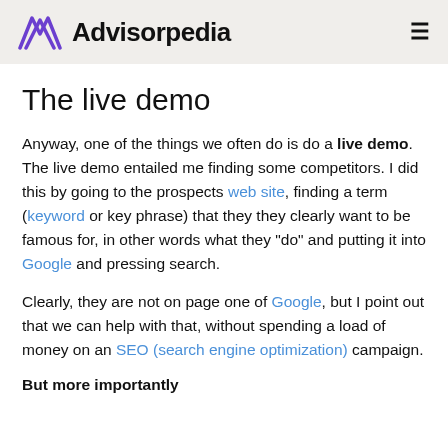Advisorpedia
The live demo
Anyway, one of the things we often do is do a live demo. The live demo entailed me finding some competitors. I did this by going to the prospects web site, finding a term (keyword or key phrase) that they they clearly want to be famous for, in other words what they "do" and putting it into Google and pressing search.
Clearly, they are not on page one of Google, but I point out that we can help with that, without spending a load of money on an SEO (search engine optimization) campaign.
But more importantly